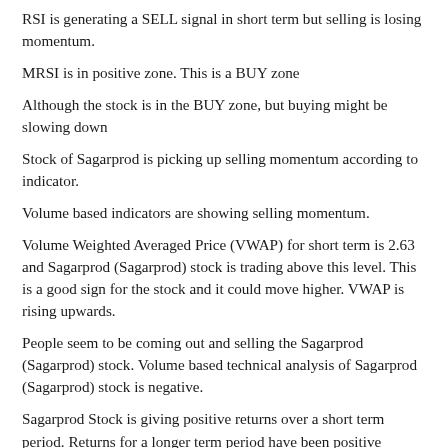RSI is generating a SELL signal in short term but selling is losing momentum.
MRSI is in positive zone. This is a BUY zone
Although the stock is in the BUY zone, but buying might be slowing down
Stock of Sagarprod is picking up selling momentum according to indicator.
Volume based indicators are showing selling momentum.
Volume Weighted Averaged Price (VWAP) for short term is 2.63 and Sagarprod (Sagarprod) stock is trading above this level. This is a good sign for the stock and it could move higher. VWAP is rising upwards.
People seem to be coming out and selling the Sagarprod (Sagarprod) stock. Volume based technical analysis of Sagarprod (Sagarprod) stock is negative.
Sagarprod Stock is giving positive returns over a short term period. Returns for a longer term period have been positive
Force Index is moving in a negative zone, which indicates selling momentum for short term... Selling momentum is getting weaker.